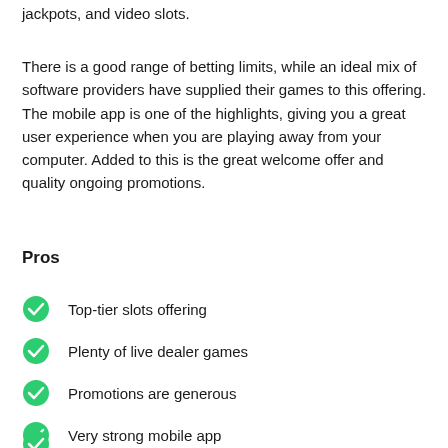jackpots, and video slots.
There is a good range of betting limits, while an ideal mix of software providers have supplied their games to this offering. The mobile app is one of the highlights, giving you a great user experience when you are playing away from your computer. Added to this is the great welcome offer and quality ongoing promotions.
Pros
Top-tier slots offering
Plenty of live dealer games
Promotions are generous
Very strong mobile app